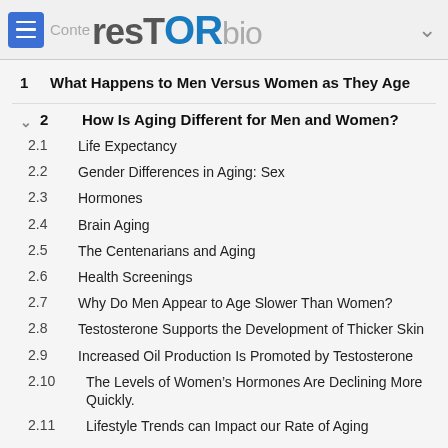resTORbio
1  What Happens to Men Versus Women as They Age
2  How Is Aging Different for Men and Women?
2.1  Life Expectancy
2.2  Gender Differences in Aging: Sex
2.3  Hormones
2.4  Brain Aging
2.5  The Centenarians and Aging
2.6  Health Screenings
2.7  Why Do Men Appear to Age Slower Than Women?
2.8  Testosterone Supports the Development of Thicker Skin
2.9  Increased Oil Production Is Promoted by Testosterone
2.10  The Levels of Women's Hormones Are Declining More Quickly.
2.11  Lifestyle Trends can Impact our Rate of Aging